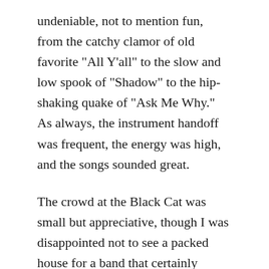undeniable, not to mention fun, from the catchy clamor of old favorite "All Y'all" to the slow and low spook of "Shadow" to the hip-shaking quake of "Ask Me Why." As always, the instrument handoff was frequent, the energy was high, and the songs sounded great.
The crowd at the Black Cat was small but appreciative, though I was disappointed not to see a packed house for a band that certainly deserves it. To my delight, the band closed with one of their most irrepressibly jangly nuggets (and one of my very favorite Gringo songs), the crush-worthy crush anthem "Make You Mine." It's tough not to be smitten with a song like that, and it's tougher still not